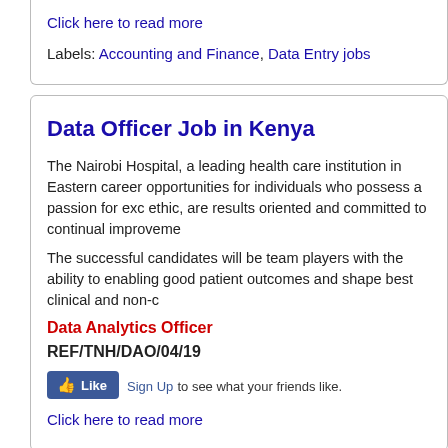Click here to read more
Labels: Accounting and Finance, Data Entry jobs
Data Officer Job in Kenya
The Nairobi Hospital, a leading health care institution in Eastern career opportunities for individuals who possess a passion for excellence ethic, are results oriented and committed to continual improvement.
The successful candidates will be team players with the ability to enabling good patient outcomes and shape best clinical and non-clinical
Data Analytics Officer
REF/TNH/DAO/04/19
Like Sign Up to see what your friends like.
Click here to read more